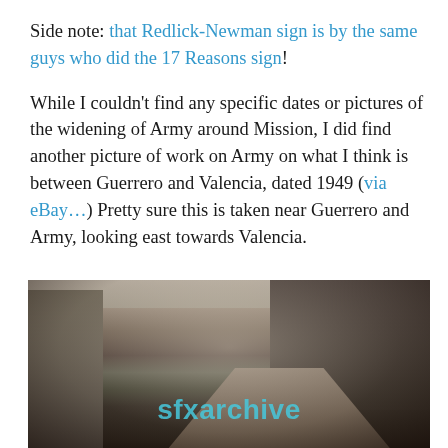Side note: that Redlick-Newman sign is by the same guys who did the 17 Reasons sign!
While I couldn't find any specific dates or pictures of the widening of Army around Mission, I did find another picture of work on Army on what I think is between Guerrero and Valencia, dated 1949 (via eBay…) Pretty sure this is taken near Guerrero and Army, looking east towards Valencia.
[Figure (photo): Black and white historical photograph, dated 1949, showing road work on Army Street between Guerrero and Valencia in San Francisco. The street is shown mid-construction, looking east towards Valencia. Buildings line both sides. A watermark reading 'sfxarchive' in cyan text appears in the lower center of the image.]